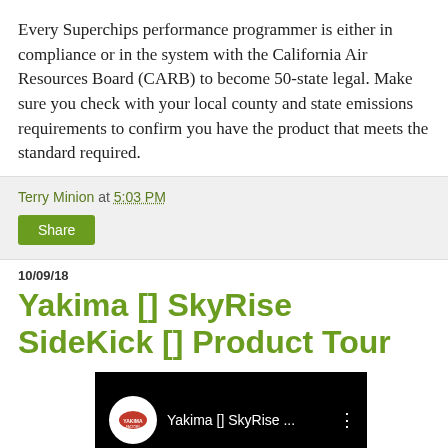Every Superchips performance programmer is either in compliance or in the system with the California Air Resources Board (CARB) to become 50-state legal. Make sure you check with your local county and state emissions requirements to confirm you have the product that meets the standard required.
Terry Minion at 5:03 PM
Share
10/09/18
Yakima [] SkyRise SideKick [] Product Tour
[Figure (screenshot): YouTube video thumbnail showing Yakima logo in a white circle on black background with text 'Yakima [] SkyRise ...' and three-dot menu icon]